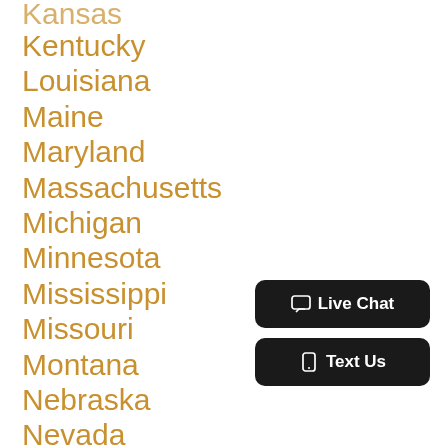Kansas
Kentucky
Louisiana
Maine
Maryland
Massachusetts
Michigan
Minnesota
Mississippi
Missouri
Montana
Nebraska
Nevada
New Hampshire
New Jersey
New Mexico
[Figure (screenshot): Live Chat and Text Us buttons in black rounded rectangles]